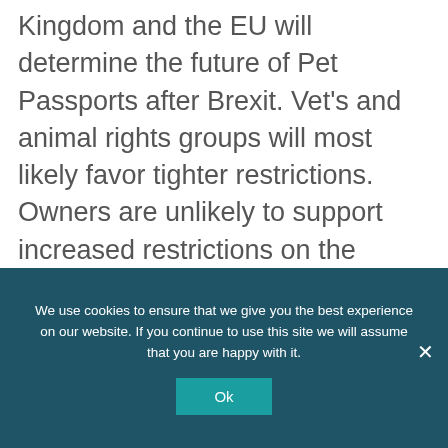Kingdom and the EU will determine the future of Pet Passports after Brexit. Vet's and animal rights groups will most likely favor tighter restrictions. Owners are unlikely to support increased restrictions on the movement of their pets. Consequently, the UK will decide on its rules about admitting pets to the UK, and the EU will set the rules for British pets accompanying their owners on holidays to the continent.
We use cookies to ensure that we give you the best experience on our website. If you continue to use this site we will assume that you are happy with it.